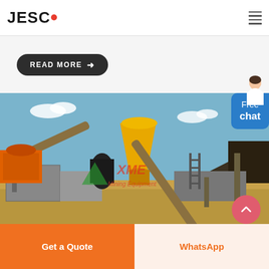JESCO
READ MORE →
[Figure (photo): Outdoor mining/crushing equipment site with yellow cone crusher, conveyor belts, ladders, and concrete structures under blue sky. XME Mining Equipment watermark visible.]
Free chat
Get a Quote
WhatsApp